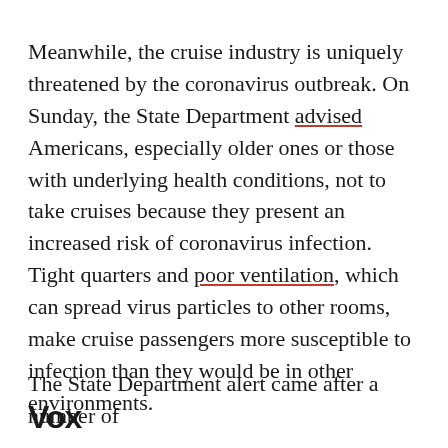Meanwhile, the cruise industry is uniquely threatened by the coronavirus outbreak. On Sunday, the State Department advised Americans, especially older ones or those with underlying health conditions, not to take cruises because they present an increased risk of coronavirus infection. Tight quarters and poor ventilation, which can spread virus particles to other rooms, make cruise passengers more susceptible to infection than they would be in other environments.
The State Department alert came after a number of
[Figure (logo): Vox media logo — bold black text reading 'Vox']